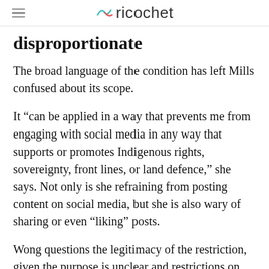ricochet
disproportionate
The broad language of the condition has left Mills confused about its scope.
It “can be applied in a way that prevents me from engaging with social media in any way that supports or promotes Indigenous rights, sovereignty, front lines, or land defence,” she says. Not only is she refraining from posting content on social media, but she is also wary of sharing or even “liking” posts.
Wong questions the legitimacy of the restriction, given the purpose is unclear and restrictions on free speech have been found justifiable in only the